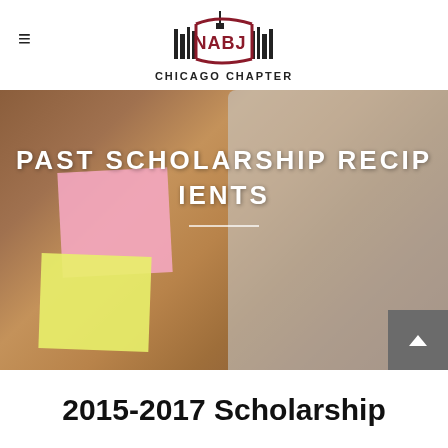NABJ CHICAGO CHAPTER
[Figure (photo): Hero banner photo of a desk with sticky notes (pink and yellow), earbuds, a keyboard, notebook and pen on a wooden surface, with overlay text 'PAST SCHOLARSHIP RECIPIENTS']
PAST SCHOLARSHIP RECIPIENTS
2015-2017 Scholarship